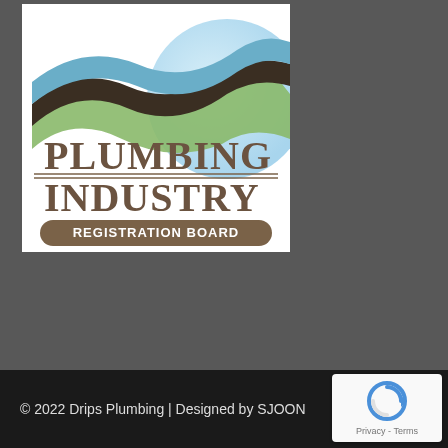[Figure (logo): Plumbing Industry Registration Board logo: wavy colored bands (green, dark brown/black, steel blue) over a light blue circular background, with text 'PLUMBING INDUSTRY' in large serif brown letters and 'REGISTRATION BOARD' in a brown rounded pill/banner below.]
© 2022 Drips Plumbing | Designed by SJOON